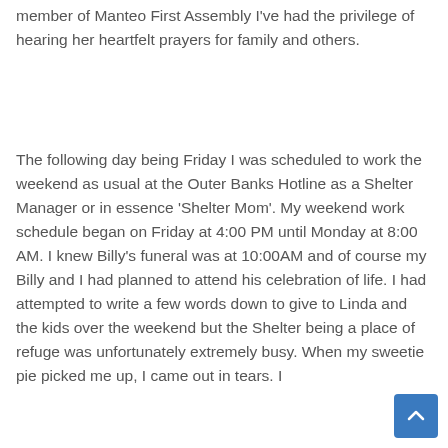member of Manteo First Assembly I've had the privilege of hearing her heartfelt prayers for family and others.
The following day being Friday I was scheduled to work the weekend as usual at the Outer Banks Hotline as a Shelter Manager or in essence 'Shelter Mom'. My weekend work schedule began on Friday at 4:00 PM until Monday at 8:00 AM. I knew Billy's funeral was at 10:00AM and of course my Billy and I had planned to attend his celebration of life. I had attempted to write a few words down to give to Linda and the kids over the weekend but the Shelter being a place of refuge was unfortunately extremely busy. When my sweetie pie picked me up, I came out in tears. I